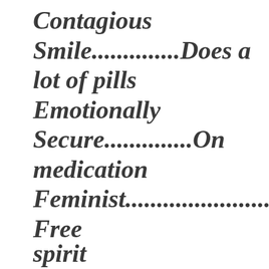Contagious Smile..............Does a lot of pills Emotionally Secure..............On medication Feminist..............................F Free spirit